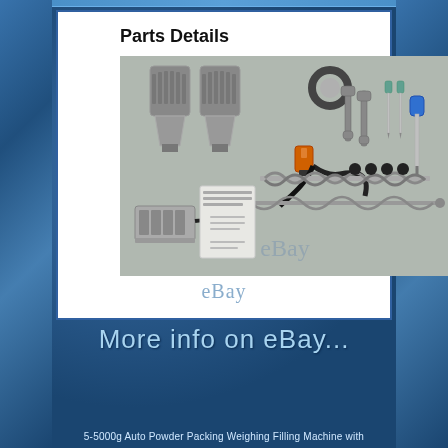[Figure (photo): Parts Details image showing machine components: funnels, cables, tools (wrenches, screwdrivers), auger screws, user manual, foot pedal, sensor, laid out on a gray surface. eBay watermark visible at bottom.]
More info on eBay...
5-5000g Auto Powder Packing Weighing Filling Machine with